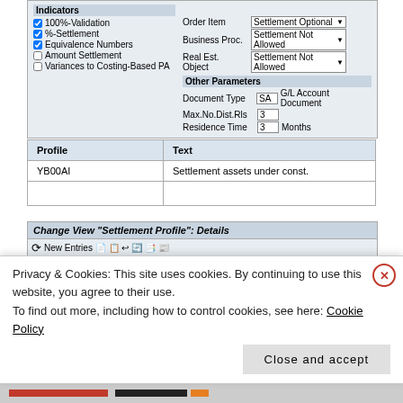[Figure (screenshot): SAP form showing Indicators and Settlement options with checkboxes and dropdowns including 100%-Validation, %-Settlement, Equivalence Numbers, Amount Settlement, Variances to Costing-Based PA, and right side fields for Order Item, Business Proc., Real Est. Object, and Other Parameters with Document Type, Max.No.Dist.Rls, Residence Time]
| Profile | Text |
| --- | --- |
| YB00AI | Settlement assets under const. |
[Figure (screenshot): SAP Change View Settlement Profile Details screen showing Settlement Profile YB00AI with text Settlement assets under const., Actual Costs/Cost of Sales section with To Be Settled in Full option selected (highlighted in green), and Valid Receivers section with G/L Account set to Settlement Not Allowed and Cost Center set to Settlement Optional]
Privacy & Cookies: This site uses cookies. By continuing to use this website, you agree to their use.
To find out more, including how to control cookies, see here: Cookie Policy
Close and accept